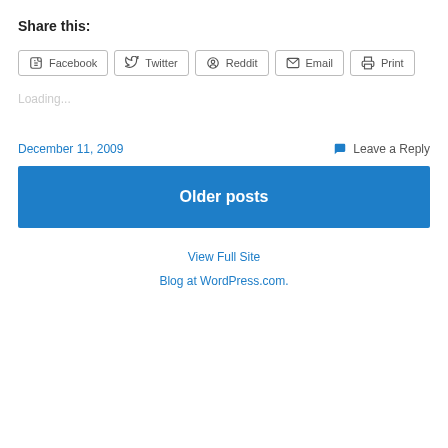Share this:
Facebook  Twitter  Reddit  Email  Print
Loading...
December 11, 2009
Leave a Reply
Older posts
View Full Site
Blog at WordPress.com.